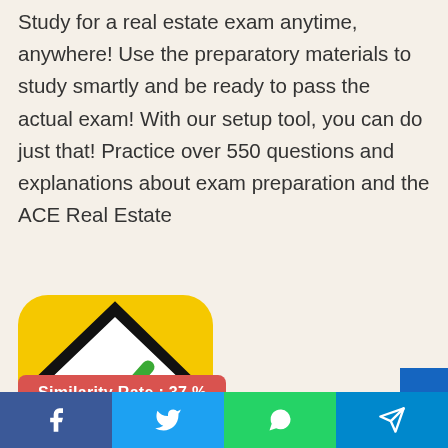Study for a real estate exam anytime, anywhere! Use the preparatory materials to study smartly and be ready to pass the actual exam! With our setup tool, you can do just that! Practice over 550 questions and explanations about exam preparation and the ACE Real Estate
[Figure (logo): Dummies brand app icon: yellow rounded square with a black and white house outline containing a green checkmark, black lower section with yellow 'dummies' text]
Similarity Rate : 37 %  –